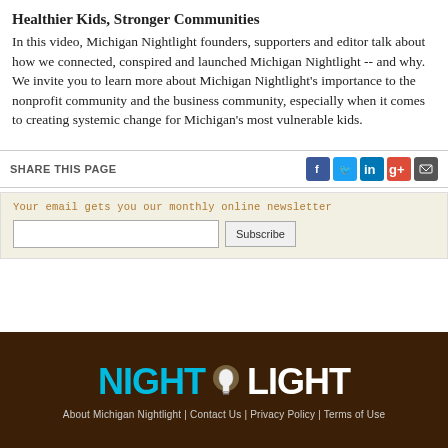Healthier Kids, Stronger Communities
In this video, Michigan Nightlight founders, supporters and editor talk about how we connected, conspired and launched Michigan Nightlight -- and why. We invite you to learn more about Michigan Nightlight's importance to the nonprofit community and the business community, especially when it comes to creating systemic change for Michigan's most vulnerable kids.
SHARE THIS PAGE
Your email gets you our monthly online newsletter
[Figure (infographic): Newsletter subscription form with text input and Subscribe button]
[Figure (logo): Michigan Nightlight logo with NIGHTLIGHT text in cyan and white on dark brown background, with footer links: About Michigan Nightlight | Contact Us | Privacy Policy | Terms of Use]